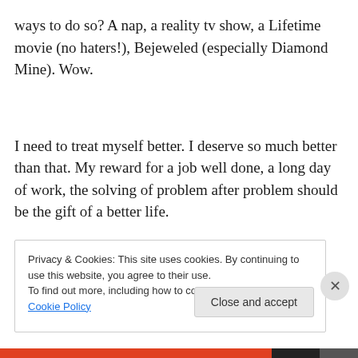ways to do so? A nap, a reality tv show, a Lifetime movie (no haters!), Bejeweled (especially Diamond Mine). Wow.
I need to treat myself better. I deserve so much better than that. My reward for a job well done, a long day of work, the solving of problem after problem should be the gift of a better life.
Privacy & Cookies: This site uses cookies. By continuing to use this website, you agree to their use.
To find out more, including how to control cookies, see here: Cookie Policy